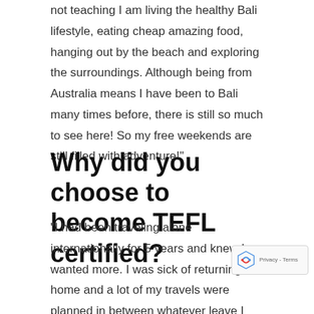not teaching I am living the healthy Bali lifestyle, eating cheap amazing food, hanging out by the beach and exploring the surroundings. Although being from Australia means I have been to Bali many times before, there is still so much to see here! So my free weekends are still filled with adventure!"
Why did you choose to become TEFL certified?
"I had been traveling alone internationally for 5 years and knew I wanted more. I was sick of returning home and a lot of my travels were planned in between whatever leave I could get from work – which always felt so rushed." A goes on to explain, "I craved a slower pace and to immerse myself into cultures rather than just experie them." Through trips around South America and the